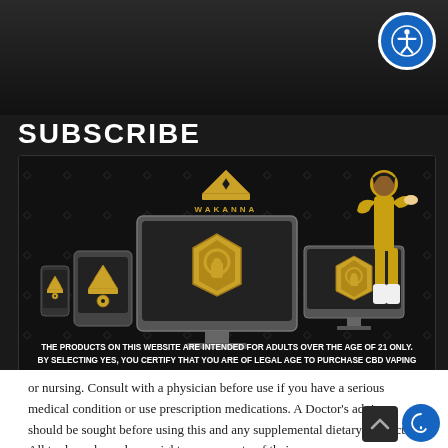SUBSCRIBE
[Figure (screenshot): Age verification modal with Wakanna logo (gold crown), devices with lock icons (desktop, tablet, phone), and a female character in yellow outfit. Two gold buttons: YES and NO.]
THE PRODUCTS ON THIS WEBSITE ARE INTENDED FOR ADULTS OVER THE AGE OF 21 ONLY. BY SELECTING YES, YOU CERTIFY THAT YOU ARE OF LEGAL AGE TO PURCHASE CBD VAPING OIL IN THE STATE IN WHICH YOU RESIDE.
or nursing. Consult with a physician before use if you have a serious medical condition or use prescription medications. A Doctor's advice should be sought before using this and any supplemental dietary product. All trademarks and copyrights are property of their